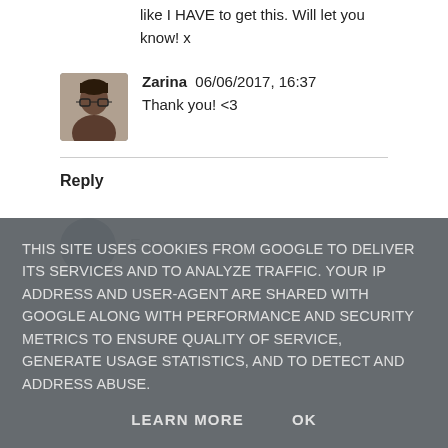like I HAVE to get this. Will let you know! x
Zarina  06/06/2017, 16:37
Thank you! <3
Reply
Enter comment
THIS SITE USES COOKIES FROM GOOGLE TO DELIVER ITS SERVICES AND TO ANALYZE TRAFFIC. YOUR IP ADDRESS AND USER-AGENT ARE SHARED WITH GOOGLE ALONG WITH PERFORMANCE AND SECURITY METRICS TO ENSURE QUALITY OF SERVICE, GENERATE USAGE STATISTICS, AND TO DETECT AND ADDRESS ABUSE.
LEARN MORE    OK